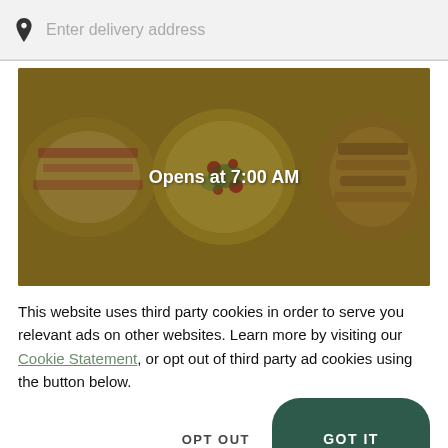Enter delivery address
[Figure (photo): Food delivery banner image showing various dishes including pizza, sandwiches, and wraps on plates with a dark overlay. Text overlay reads 'Opens at 7:00 AM'.]
This website uses third party cookies in order to serve you relevant ads on other websites. Learn more by visiting our Cookie Statement, or opt out of third party ad cookies using the button below.
OPT OUT
GOT IT